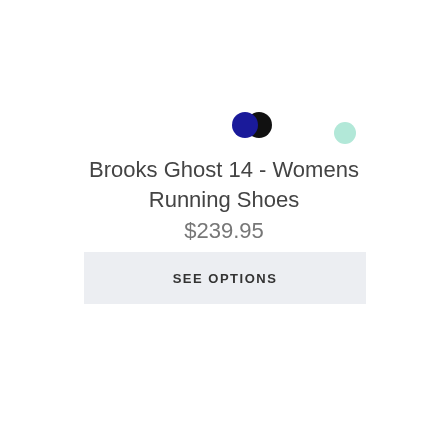[Figure (other): Three color swatch circles: black (left), mint/light green (center), dark navy blue (right)]
Brooks Ghost 14 - Womens Running Shoes
$239.95
SEE OPTIONS